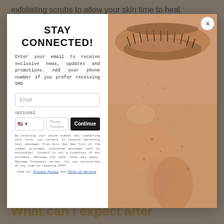exfoliating scrubs to allow your skin time to heal.
How does dermaplaning work?
[Figure (screenshot): Modal popup with 'STAY CONNECTED!' heading, email input, optional phone number field with US flag selector and Continue button, legal disclaimer text, and a close X button. Right side shows a close-up photo of a woman's face skin near the eye area.]
quality of your skin's texture and appearance.
What can I expect after